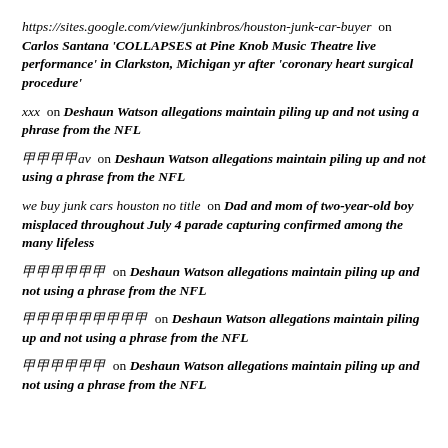https://sites.google.com/view/junkinbros/houston-junk-car-buyer on Carlos Santana 'COLLAPSES at Pine Knob Music Theatre live performance' in Clarkston, Michigan yr after 'coronary heart surgical procedure'
xxx on Deshaun Watson allegations maintain piling up and not using a phrase from the NFL
甲甲甲甲av on Deshaun Watson allegations maintain piling up and not using a phrase from the NFL
we buy junk cars houston no title on Dad and mom of two-year-old boy misplaced throughout July 4 parade capturing confirmed among the many lifeless
甲甲甲甲甲甲 on Deshaun Watson allegations maintain piling up and not using a phrase from the NFL
甲甲甲甲甲甲甲甲甲 on Deshaun Watson allegations maintain piling up and not using a phrase from the NFL
甲甲甲甲甲甲 on Deshaun Watson allegations maintain piling up and not using a phrase from the NFL